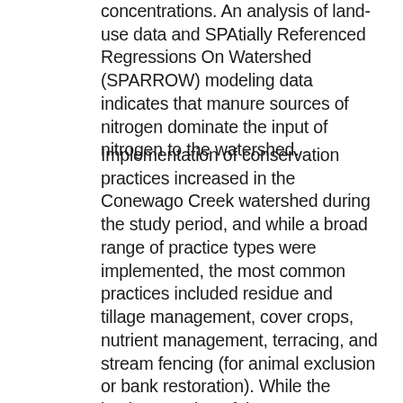concentrations. An analysis of land-use data and SPAtially Referenced Regressions On Watershed (SPARROW) modeling data indicates that manure sources of nitrogen dominate the input of nitrogen to the watershed.
Implementation of conservation practices increased in the Conewago Creek watershed during the study period, and while a broad range of practice types were implemented, the most common practices included residue and tillage management, cover crops, nutrient management, terracing, and stream fencing (for animal exclusion or bank restoration). While the implementation of these conservation practices is encouraging, the cumulative effects of these practices probably will not be detected in Conewago Creek water quality for several years.